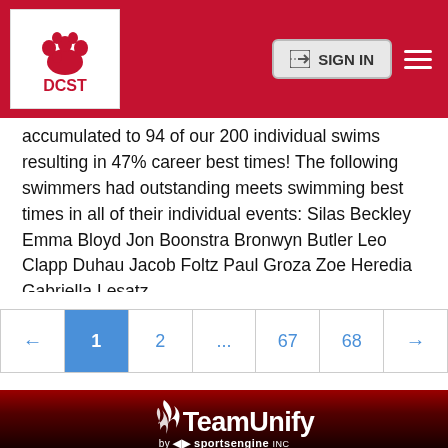DCST — SIGN IN
accumulated to 94 of our 200 individual swims resulting in 47% career best times! The following swimmers had outstanding meets swimming best times in all of their individual events: Silas Beckley Emma Bloyd Jon Boonstra Bronwyn Butler Leo Clapp Duhau Jacob Foltz Paul Groza Zoe Heredia Gabriella Lesatz...
[Figure (screenshot): Pagination bar with left arrow, page 1 (active/blue), 2, ..., 67, 68, right arrow]
[Figure (logo): TeamUnify by SportsEngine logo — white flame icon above TeamUnify wordmark, 'by NBC SportsEngine INC' below]
© Copyright SportsEngine, Inc. This website is powered by TeamUnify but is owned by and subject to the Organization's privacy policy.
Privacy Statement